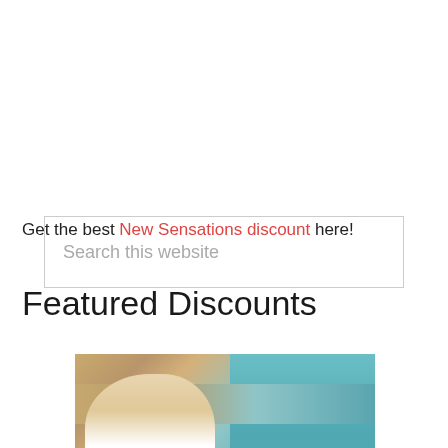[Figure (other): Search box input field with placeholder text 'Search this website']
Get the best New Sensations discount here!
Featured Discounts
[Figure (photo): Woman with long hair near a swimming pool, wearing a white top, poolside stone patio visible]